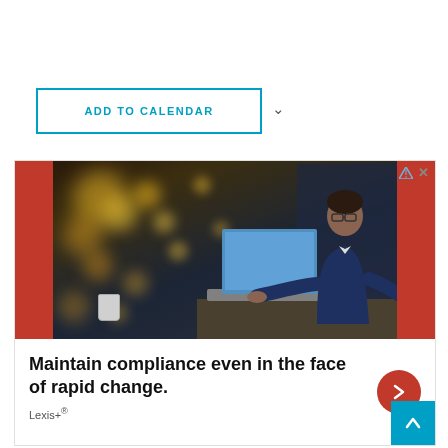ADD TO CALENDAR
[Figure (screenshot): Advertisement featuring a man in a suit working on a laptop with bokeh background lights. Red side bars frame the photo. Below: bold headline 'Maintain compliance even in the face of rapid change.' with Lexis+® branding and a red arrow button. Ad icons (triangle and X) in top right. Cyan scroll-up button bottom right.]
Maintain compliance even in the face of rapid change.
Lexis+®